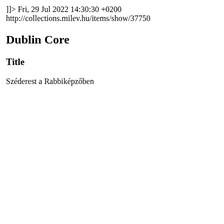</div><div class="item-file image-jpeg"><a class="download-file" href="http://collections.milev.hu/files/original/2ed749b4816102a8bc459b04ba9b8ab1.jpg"><img class="thumb" src="http://collections.milev.hu/files/square_thumbnails/2ed749b4816102a8bc459b04ba9b8ab1.jpg" alt="F2022_100_2.jpg" title="F2022_100_2.jpg"></a></div>]]></description>
        <pubDate>Fri, 29 Jul 2022 14:30:30 +0200</pubDate>
            <enclosure url="http://collections.milev.hu/files/fullsize/be4782629120c6b5a6a0b1dcf2e14500.jpg" type="image/jpeg" length="1138432"/>
    </item>
    <item>
        <title><![CDATA[Széderest a Rabbiképzőben]]></title>

<link>http://collections.milev.hu/items/show/37750</link>
        <description><![CDATA[<div class="element-set">
            <h2>Dublin Core</h2>
                <div id="dublin-core-title" class="element">
            <h3>Title</h3>
                        <div class="element-text">Széderest a Rabbiképzőben</div>
            </div><!-- end element -->
            <div id="dublin-core-identifier"